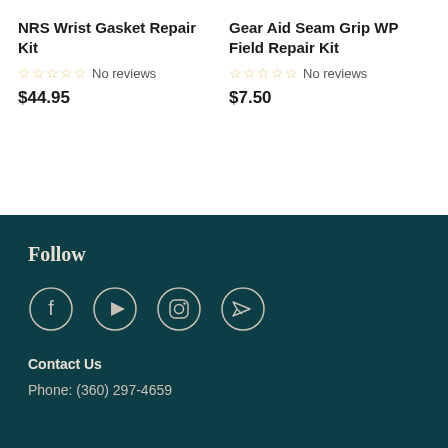NRS Wrist Gasket Repair Kit
No reviews
$44.95
Gear Aid Seam Grip WP Field Repair Kit
No reviews
$7.50
Follow
[Figure (infographic): Social media icons: Facebook, YouTube, Instagram, and a paper plane/send icon, each in a circle outline]
Contact Us
Phone: (360) 297-4659